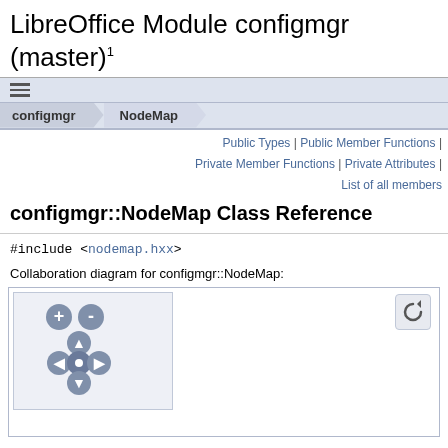LibreOffice Module configmgr (master) 1
configmgr | NodeMap
Public Types | Public Member Functions | Private Member Functions | Private Attributes | List of all members
configmgr::NodeMap Class Reference
#include <nodemap.hxx>
Collaboration diagram for configmgr::NodeMap:
[Figure (other): Collaboration diagram control panel with zoom and pan buttons (plus, minus, up, left, center dot, right, down arrows) and a reset button.]